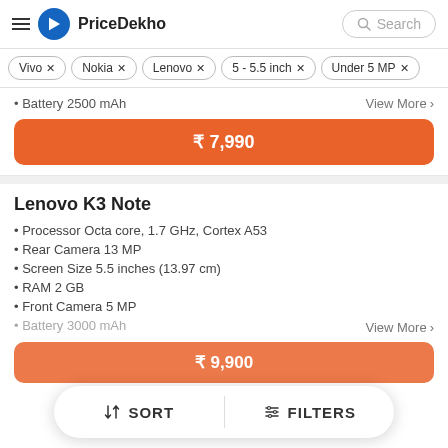PriceDekho
Vivo ×
Nokia ×
Lenovo ×
5 - 5.5 inch ×
Under 5 MP ×
• Battery 2500 mAh
₹ 7,990
Lenovo K3 Note
• Processor Octa core, 1.7 GHz, Cortex A53
• Rear Camera 13 MP
• Screen Size 5.5 inches (13.97 cm)
• RAM 2 GB
• Front Camera 5 MP
View More >
₹ 9,900
↕ SORT   |   ⇅ FILTERS